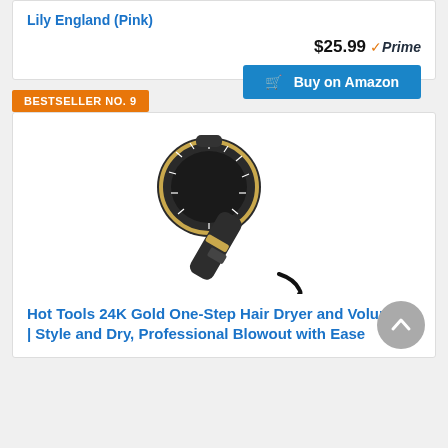Lily England (Pink)
$25.99 ✓Prime
Buy on Amazon
BESTSELLER NO. 9
[Figure (photo): Hot Tools 24K Gold One-Step Hair Dryer and Volumizer product photo showing a round brush blow dryer with black and gold design]
Hot Tools 24K Gold One-Step Hair Dryer and Volumizer | Style and Dry, Professional Blowout with Ease